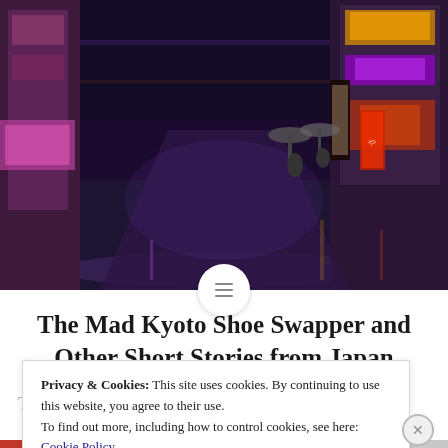[Figure (photo): Night street scene in Japan showing a narrow alley lit by neon signs with people walking under umbrellas on a wet street]
The Mad Kyoto Shoe Swapper and Other Short Stories from Japan
Title: The Mad Kyoto Shoe Swapper and other
Privacy & Cookies: This site uses cookies. By continuing to use this website, you agree to their use.
To find out more, including how to control cookies, see here:
Cookie Policy
Close and accept